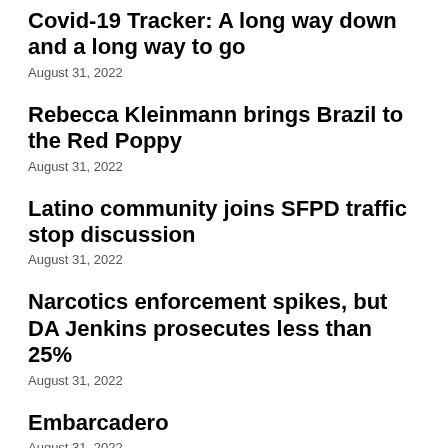Covid-19 Tracker: A long way down and a long way to go
August 31, 2022
Rebecca Kleinmann brings Brazil to the Red Poppy
August 31, 2022
Latino community joins SFPD traffic stop discussion
August 31, 2022
Narcotics enforcement spikes, but DA Jenkins prosecutes less than 25%
August 31, 2022
Embarcadero
August 31, 2022